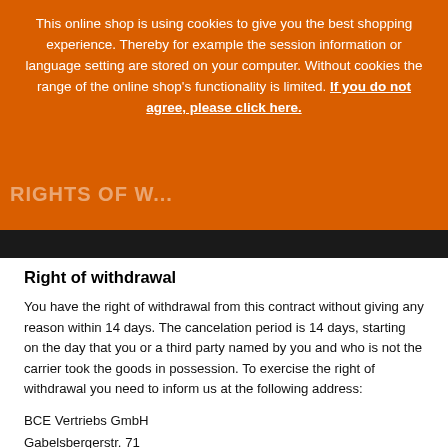This online shop is using cookies to give you the best shopping experience. Thereby for example the session information or language setting are stored on your computer. Without cookies the range of the online shop's functionality is limited. If you do not agree, please click here.
RIGHTS OF W...
Right of withdrawal
You have the right of withdrawal from this contract without giving any reason within 14 days. The cancelation period is 14 days, starting on the day that you or a third party named by you and who is not the carrier took the goods in possession. To exercise the right of withdrawal you need to inform us at the following address:
BCE Vertriebs GmbH
Gabelsbergerstr. 71
80333 München
Fax: 089-76753126
E-Mail: info@bce-europe.com
Please inform us with a precise explanation (e.g. sending a message via regular mail, fax or email) of your decision to withdraw from this contract. You can use the sample form below which